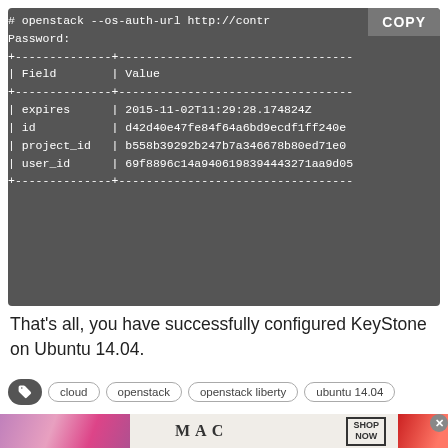[Figure (screenshot): Terminal code block showing openstack auth command output with fields: expires, id, project_id, user_id and a COPY button]
That’s all, you have successfully configured KeyStone on Ubuntu 14.04.
Tags: cloud, openstack, openstack liberty, ubuntu 14.04
[Figure (photo): MAC cosmetics advertisement banner with lipsticks and SHOP NOW button]